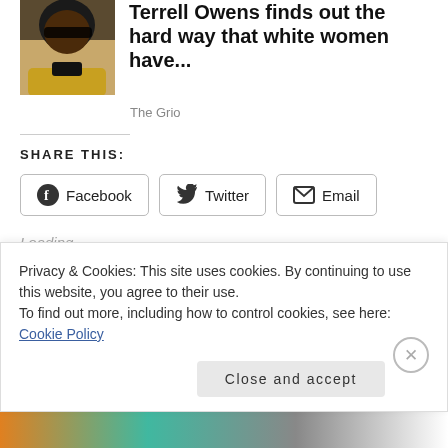Terrell Owens finds out the hard way that white women have...
The Grio
SHARE THIS:
Loading...
Privacy & Cookies: This site uses cookies. By continuing to use this website, you agree to their use.
To find out more, including how to control cookies, see here: Cookie Policy
Close and accept